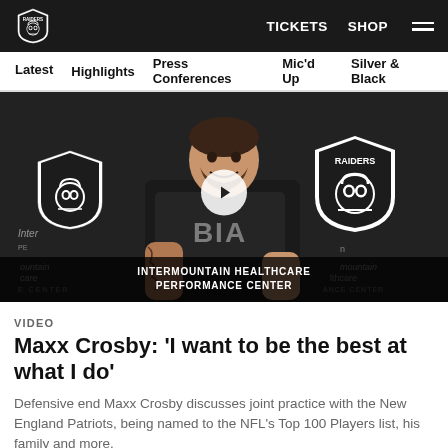Raiders | TICKETS  SHOP
Latest  Highlights  Press Conferences  Mic'd Up  Silver & Black
[Figure (screenshot): Video thumbnail showing Maxx Crosby at a Raiders press conference podium, smiling, wearing a black BIA shirt. Raiders logo visible in background. Intermountain Healthcare Performance Center lower third overlay. Play button in center.]
VIDEO
Maxx Crosby: 'I want to be the best at what I do'
Defensive end Maxx Crosby discusses joint practice with the New England Patriots, being named to the NFL's Top 100 Players list, his family and more.